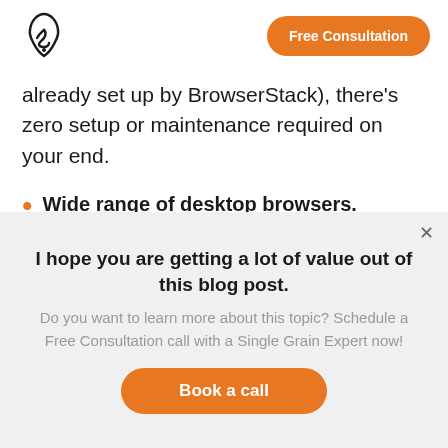Single Grain logo | Free Consultation
already set up by BrowserStack), there's zero setup or maintenance required on your end.
Wide range of desktop browsers. BrowserStack also has 1,000+ desktop browsers across different versions of Chrome, Firefox, Safari and more, Edge, and...
I hope you are getting a lot of value out of this blog post.
Do you want to learn more about this topic? Schedule a Free Consultation call with a Single Grain Expert now!
Book a call